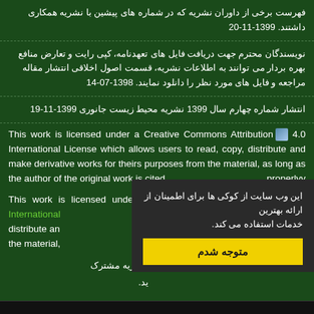فهرست برخی از داوران نشریه که در شماره های پیشین با نشریه همکاری داشتند. 1399-11-20
نویسندگان محترم جهت دریافت فایل های تعهدنامه، کپی رایت و تعارض منافع بهره بردار می توانند به اطلاعات نشریه، قسمت اصول اخلاقی انتشار مقاله مراجعه و فایل های مورد نظر را دانلود نمایند. 1398-07-14
انتشار شماره چهارم سال 1399 نشریه محیط زیست جانوری 1399-11-19
This work is licensed under a Creative Commons Attribution 4.0 International License which allows users to read, copy, distribute and make derivative works for theirs purposes from the material, as long as the author of the original work is cited properlyy
This work is licensed under a Creative Commons Attribution 4.0 International License which allows users to read, copy, distribute and make derivative works for theirs purposes from the material,
این وب سایت از کوکی ها برای اطمینان از ارائه بهترین خدمات استفاده می کند.
متوجه شدم
ریه مشترک
ید.